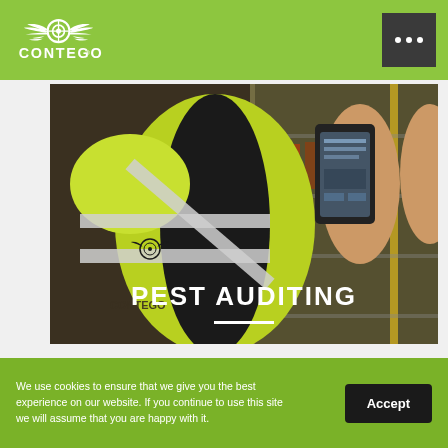CONTEGO
[Figure (photo): Contego pest control technician in hi-visibility yellow jacket with Contego logo holding a smartphone, inspecting a warehouse shelving area]
PEST AUDITING
[Figure (photo): Partial view of a person in blue shirt near wooden surface]
We use cookies to ensure that we give you the best experience on our website. If you continue to use this site we will assume that you are happy with it.